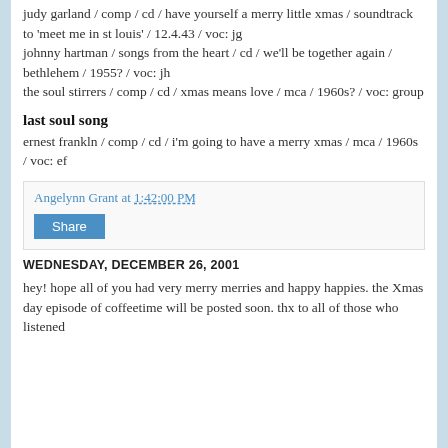judy garland / comp / cd / have yourself a merry little xmas / soundtrack to 'meet me in st louis' / 12.4.43 / voc: jg
johnny hartman / songs from the heart / cd / we'll be together again / bethlehem / 1955? / voc: jh
the soul stirrers / comp / cd / xmas means love / mca / 1960s? / voc: group
last soul song
ernest frankln / comp / cd / i'm going to have a merry xmas / mca / 1960s / voc: ef
Angelynn Grant at 1:42:00 PM
Share
WEDNESDAY, DECEMBER 26, 2001
hey! hope all of you had very merry merries and happy happies. the Xmas day episode of coffeetime will be posted soon. thx to all of those who listened